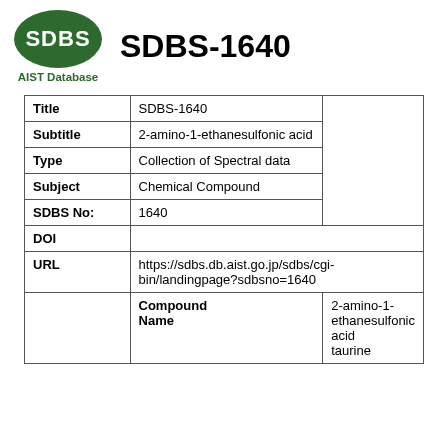[Figure (logo): SDBS green oval logo with white SDBS text, and AIST Database text below in green]
SDBS-1640
| Title | SDBS-1640 |  |
| Subtitle | 2-amino-1-ethanesulfonic acid |  |
| Type | Collection of Spectral data |  |
| Subject | Chemical Compound |  |
| SDBS No: | 1640 |  |
| DOI |  |  |
| URL | https://sdbs.db.aist.go.jp/sdbs/cgi-bin/landingpage?sdbsno=1640 |  |
|  | Compound Name | 2-amino-1-ethanesulfonic acid taurine |